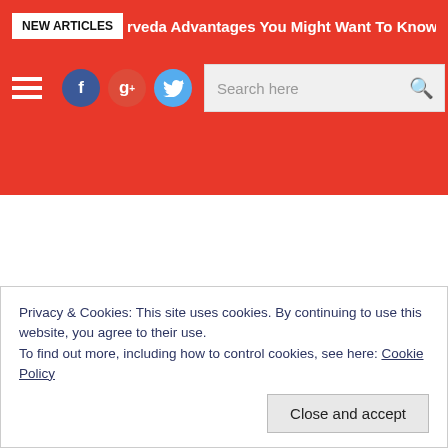NEW ARTICLES | rveda Advantages You Might Want To Know
[Figure (screenshot): Website header with hamburger menu, Facebook, Google+, and Twitter social icons, and a search box]
Privacy & Cookies: This site uses cookies. By continuing to use this website, you agree to their use.
To find out more, including how to control cookies, see here: Cookie Policy
Close and accept